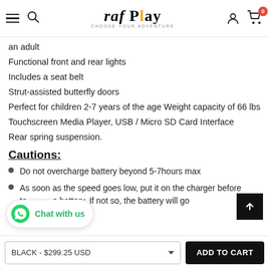raf Play — CHOOSE YOUR ADVENTURE (navigation header)
an adult
Functional front and rear lights
Includes a seat belt
Strut-assisted butterfly doors
Perfect for children 2-7 years of the age Weight capacity of 66 lbs
Touchscreen Media Player, USB / Micro SD Card Interface
Rear spring suspension.
Cautions:
Do not overcharge battery beyond 5-7hours max
As soon as the speed goes low, put it on the charger before to [battery]. If not so, the battery will go
BLACK - $299.25 USD   ADD TO CART